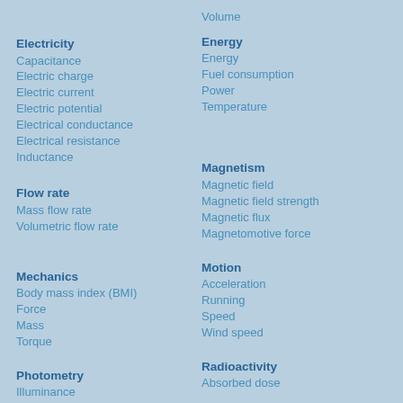Volume
Electricity
Capacitance
Electric charge
Electric current
Electric potential
Electrical conductance
Electrical resistance
Inductance
Energy
Energy
Fuel consumption
Power
Temperature
Flow rate
Mass flow rate
Volumetric flow rate
Magnetism
Magnetic field
Magnetic field strength
Magnetic flux
Magnetomotive force
Mechanics
Body mass index (BMI)
Force
Mass
Torque
Motion
Acceleration
Running
Speed
Wind speed
Photometry
Illuminance
Radioactivity
Absorbed dose